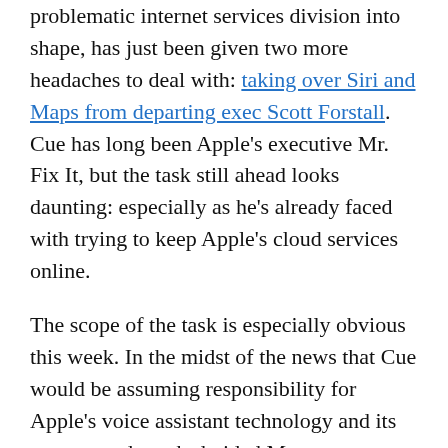problematic internet services division into shape, has just been given two more headaches to deal with: taking over Siri and Maps from departing exec Scott Forstall. Cue has long been Apple's executive Mr. Fix It, but the task still ahead looks daunting: especially as he's already faced with trying to keep Apple's cloud services online.
The scope of the task is especially obvious this week. In the midst of the news that Cue would be assuming responsibility for Apple's voice assistant technology and its nascent and much-derided Maps application, the iCloud service he oversees experienced yet another hiccup: many iCloud services were down for some users on Wednesday afternoon, according to Apple's own system status page, with the exception of Messages and Mail (The Documents in the Cloud feature is still down as of this writing). This outage follows Tuesday's brief episode when iMessages were coming back undelivered, iTunes Match and GameCenter were down and the App...